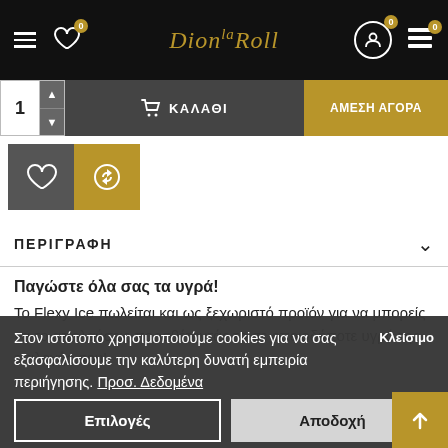Dion la Roll — navigation header with hamburger menu, wishlist, logo, account, and cart icons
1  ΚΑΛΑΘΙ   ΑΜΕΣΗ ΑΓΟΡΑ
[Figure (other): Product action buttons row: wishlist (heart) icon button and compare (circle arrows) icon button]
ΠΕΡΙΓΡΑΦΗ
Παγώστε όλα σας τα υγρά!
Το Flexy Ice πωλείται και ως ξεχωριστό προϊόν για να μπορείς να το απολαύσεις προσθέτοντάς το σε οποιοδήποτε υγρό της επιλογής σου!
Στον ιστότοπο χρησιμοποιούμε cookies για να σας εξασφαλίσουμε την καλύτερη δυνατή εμπειρία περιήγησης. Προσ. Δεδομένα
Επιλογές   Αποδοχή
Βαρέθηκες τη γεύση του υγρού σου; Ανανέωσέ το,
δημιουργώντας μια νέα frozen γεύση από αλλά